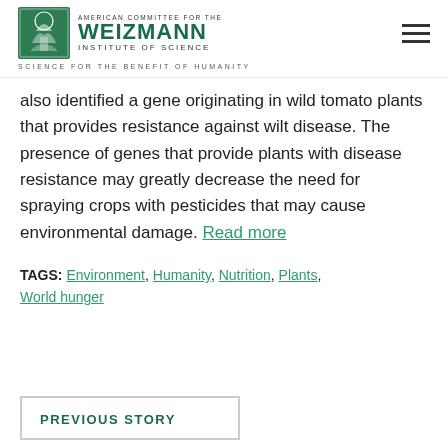AMERICAN COMMITTEE FOR THE WEIZMANN INSTITUTE OF SCIENCE — SCIENCE FOR THE BENEFIT OF HUMANITY
also identified a gene originating in wild tomato plants that provides resistance against wilt disease. The presence of genes that provide plants with disease resistance may greatly decrease the need for spraying crops with pesticides that may cause environmental damage. Read more
TAGS: Environment, Humanity, Nutrition, Plants, World hunger
PREVIOUS STORY